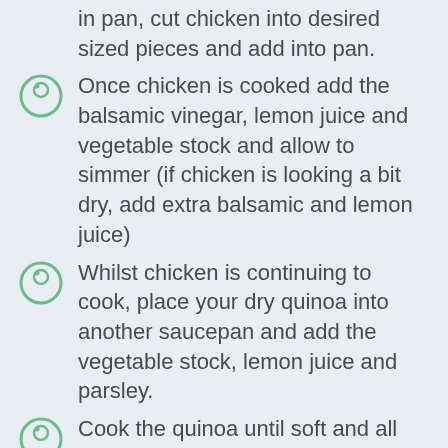in pan, cut chicken into desired sized pieces and add into pan.
Once chicken is cooked add the balsamic vinegar, lemon juice and vegetable stock and allow to simmer (if chicken is looking a bit dry, add extra balsamic and lemon juice)
Whilst chicken is continuing to cook, place your dry quinoa into another saucepan and add the vegetable stock, lemon juice and parsley.
Cook the quinoa until soft and all liquid is absorbed.